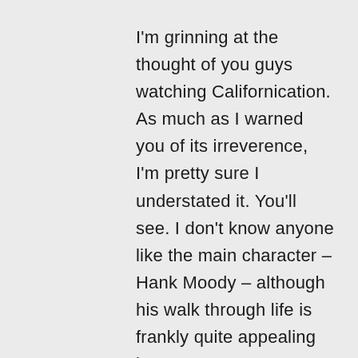I'm grinning at the thought of you guys watching Californication. As much as I warned you of its irreverence, I'm pretty sure I understated it. You'll see. I don't know anyone like the main character – Hank Moody – although his walk through life is frankly quite appealing in some ways. It provokes my inner child for sure. I'll be interested in reading your thoughts on it as you go through it. Have